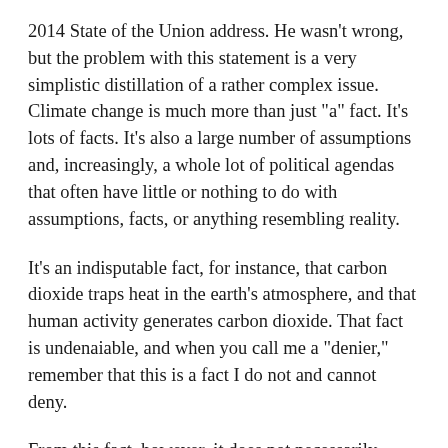2014 State of the Union address. He wasn't wrong, but the problem with this statement is a very simplistic distillation of a rather complex issue. Climate change is much more than just "a" fact. It's lots of facts. It's also a large number of assumptions and, increasingly, a whole lot of political agendas that often have little or nothing to do with assumptions, facts, or anything resembling reality.
It's an indisputable fact, for instance, that carbon dioxide traps heat in the earth's atmosphere, and that human activity generates carbon dioxide. That fact is undenaiable, and when you call me a "denier," remember that this is a fact I do not and cannot deny.
From this fact, however, it does not necessarily follow that forcing all existing coal power plants to cut their carbon emissions by 30% from 2005 levels by 2030 is a good idea, which is what Obama wanted to do. A study conducted by the U.S. Chamber of Commerce found that these emissions